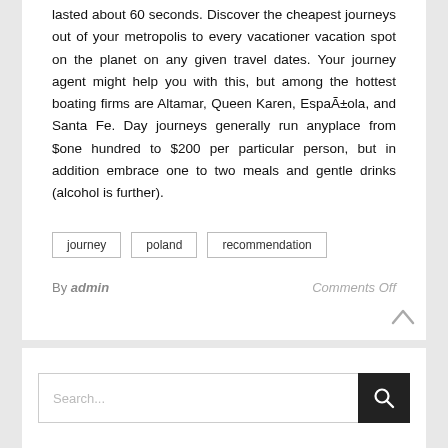lasted about 60 seconds. Discover the cheapest journeys out of your metropolis to every vacationer vacation spot on the planet on any given travel dates. Your journey agent might help you with this, but among the hottest boating firms are Altamar, Queen Karen, EspaÃ±ola, and Santa Fe. Day journeys generally run anyplace from $one hundred to $200 per particular person, but in addition embrace one to two meals and gentle drinks (alcohol is further).
journey
poland
recommendation
By admin    Comments Off